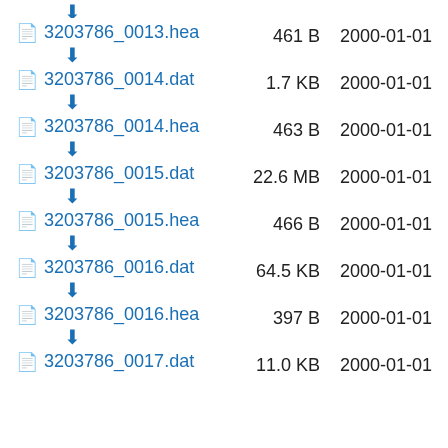3203786_0013.hea  461 B  2000-01-01
3203786_0014.dat  1.7 KB  2000-01-01
3203786_0014.hea  463 B  2000-01-01
3203786_0015.dat  22.6 MB  2000-01-01
3203786_0015.hea  466 B  2000-01-01
3203786_0016.dat  64.5 KB  2000-01-01
3203786_0016.hea  397 B  2000-01-01
3203786_0017.dat  11.0 KB  2000-01-01